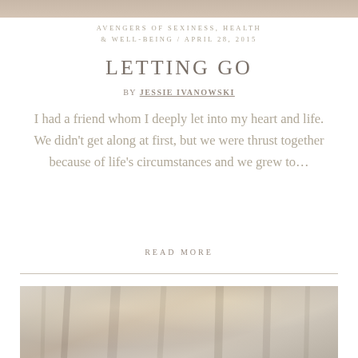[Figure (photo): Faded top banner image, landscape photo strip]
AVENGERS OF SEXINESS, HEALTH & WELL-BEING / APRIL 28, 2015
LETTING GO
BY JESSIE IVANOWSKI
I had a friend whom I deeply let into my heart and life. We didn't get along at first, but we were thrust together because of life's circumstances and we grew to...
READ MORE
[Figure (photo): Faded nature/forest photograph with light filtering through trees, muted warm tones]